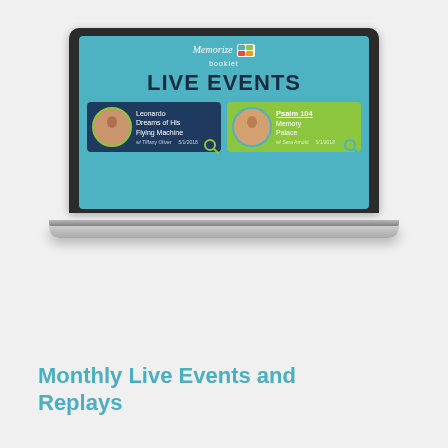[Figure (screenshot): A laptop computer displaying a 'Live Events' screen from the Memorize Academy or similar learning platform, showing two event cards with presenter photos and book titles: 'Leonardo Dreams of His Flying Machine' and 'Psalm 104 Memory Palace'.]
Monthly Live Events and Replays